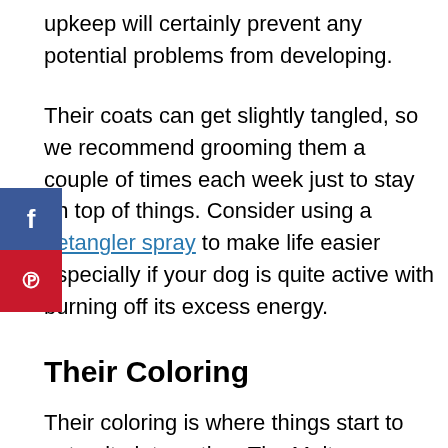upkeep will certainly prevent any potential problems from developing.
Their coats can get slightly tangled, so we recommend grooming them a couple of times each week just to stay on top of things. Consider using a detangler spray to make life easier especially if your dog is quite active with burning off its excess energy.
Their Coloring
Their coloring is where things start to get quite interesting. The Maltese are predominantly white-colored dog, so a Maltipoo will pretty much get all its coloring from the Poodle.